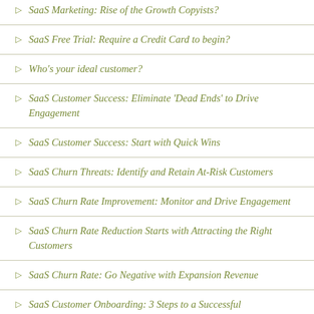SaaS Marketing: Rise of the Growth Copyists?
SaaS Free Trial: Require a Credit Card to begin?
Who's your ideal customer?
SaaS Customer Success: Eliminate 'Dead Ends' to Drive Engagement
SaaS Customer Success: Start with Quick Wins
SaaS Churn Threats: Identify and Retain At-Risk Customers
SaaS Churn Rate Improvement: Monitor and Drive Engagement
SaaS Churn Rate Reduction Starts with Attracting the Right Customers
SaaS Churn Rate: Go Negative with Expansion Revenue
SaaS Customer Onboarding: 3 Steps to a Successful